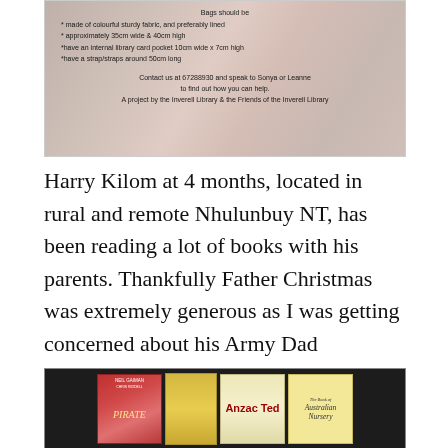[Figure (photo): A notice/poster about library bags on a colourful fabric background. Text reads: Bags should be * made of colourful sturdy fabric, and preferably lined * approximately 35cm wide & 40cm high *have an internal library card pocket 10cm wide x 7cm high *have a strap/straps around 50cm long. Contact us at 67288930 and speak to Sonya or Leanne to find out how you can help. A project by the Inverell Library & the Friends of the Inverell Library]
Harry Kilom at 4 months, located in rural and remote Nhulunbuy NT, has been reading a lot of books with his parents. Thankfully Father Christmas was extremely generous as I was getting concerned about his Army Dad continually reading books about military strikes to the child.
[Figure (photo): A photo of several children's books laid out on a dark surface, including Neil Gaiman's Pirate book, an Anzac Ted book, and The Book of Australian Nursery Rhymes.]